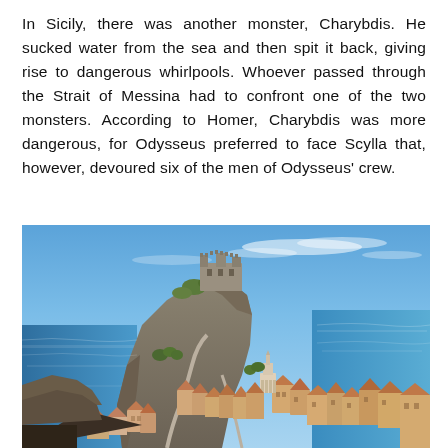In Sicily, there was another monster, Charybdis. He sucked water from the sea and then spit it back, giving rise to dangerous whirlpools. Whoever passed through the Strait of Messina had to confront one of the two monsters. According to Homer, Charybdis was more dangerous, for Odysseus preferred to face Scylla that, however, devoured six of the men of Odysseus' crew.
[Figure (photo): Aerial/elevated view of a coastal Italian town (Scilla, Calabria) built on rocky cliffs jutting into a blue sea, with terracotta-roofed buildings, a medieval castle on the highest rock, and a clear blue sky with light clouds.]